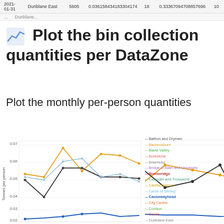| date | DataZone | col3 | col4 | col5 | col6 | col7 |
| --- | --- | --- | --- | --- | --- | --- |
| 2021-01-31 | Dunblane East | 5605 | 0.036158434183304174 | 18 | 0.33367094708857696 | 10 |
| ... | Dunblane... |  |  |  |  |  |
Plot the bin collection quantities per DataZone
Plot the monthly per-person quantities
[Figure (line-chart): Line chart showing monthly per-person bin collection quantities for multiple DataZones including Bannockburn (orange), Forth (dark/black), Causeywayhead (blue), and others. Y-axis ranges from approximately 0.02 to 0.07. Legend lists: Balfron and Drymen, Bannockburn, Blane Valley, Borestone, Braehead, Bridge of Allan and University, Broomridge (bold), Calander and Trossachs, Cambusbarron, Carse of Stirling, Causewayhead (bold), City Centre, Cornton, Cowie, Dunblane East, Dunblane West, Fallin, Forth (bold), Highland, Hillpark, King's Park and Torbrex]